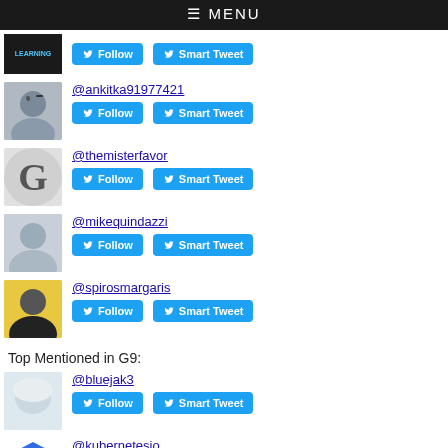≡ MENU
@ankitka91977421 — Follow, Smart Tweet
@themisterfavor — Follow, Smart Tweet
@mikequindazzi — Follow, Smart Tweet
@spirosmargaris — Follow, Smart Tweet
Top Mentioned in G9:
@bluejak3 — Follow, Smart Tweet
@kubernetesio — Follow, Smart Tweet
@eli_krumova